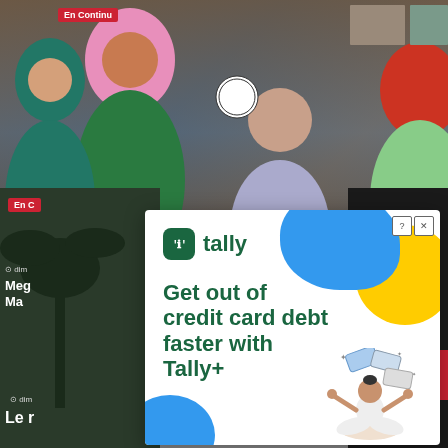[Figure (screenshot): News website screenshot with two news thumbnails showing people in cultural attire. Top section shows a photo with 'En Continu' red label and a close button overlay. Bottom left shows a dark photo with 'En C' partial label, clock icon, 'dim' text, and partial headline starting with 'Le'. Bottom right shows a dark room photo. An advertisement overlay from Tally covers the center-right portion.]
[Figure (infographic): Tally advertisement overlay: White card with Tally logo (dark green square icon with quote marks and 'tally' wordmark), decorative blue blob and yellow circle in top right. Headline reads 'Get out of credit card debt faster with Tally+'. Bottom right shows illustration of a meditating figure with credit cards floating around. Small blue circle decoration bottom left.]